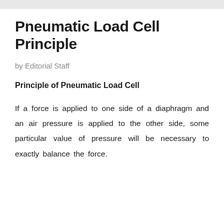Pneumatic Load Cell Principle
by Editorial Staff
Principle of Pneumatic Load Cell
If a force is applied to one side of a diaphragm and an air pressure is applied to the other side, some particular value of pressure will be necessary to exactly balance the force.